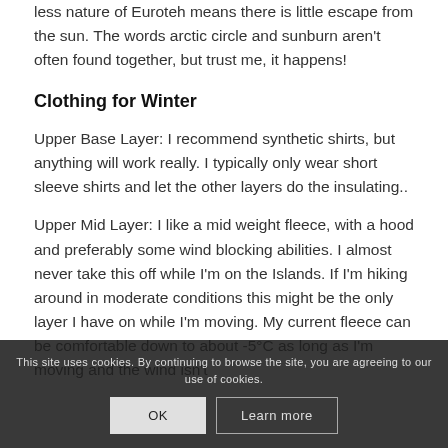less nature of Euroteh means there is little escape from the sun. The words arctic circle and sunburn aren't often found together, but trust me, it happens!
Clothing for Winter
Upper Base Layer: I recommend synthetic shirts, but anything will work really. I typically only wear short sleeve shirts and let the other layers do the insulating..
Upper Mid Layer: I like a mid weight fleece, with a hood and preferably some wind blocking abilities. I almost never take this off while I'm on the Islands. If I'm hiking around in moderate conditions this might be the only layer I have on while I'm moving. My current fleece can be comfortable down to about -5°C as long as I'm moving and the wind isn't
This site uses cookies. By continuing to browse the site, you are agreeing to our use of cookies.